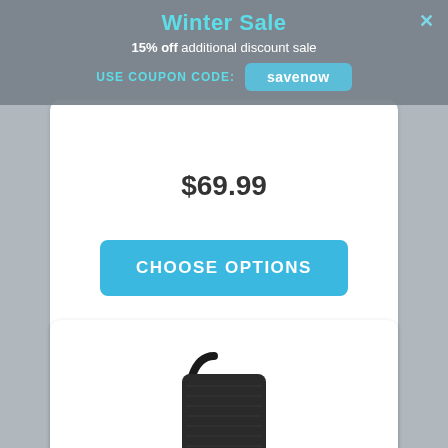Winter Sale
15% off additional discount sale
USE COUPON CODE: savenow
$69.99
CHOOSE OPTIONS
[Figure (illustration): Green leaf icon and blue marker/pen icon]
[Figure (photo): Black portable vaporizer device with curved mouthpiece and digital display]